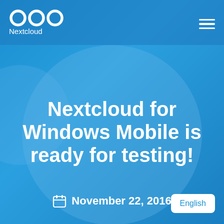[Figure (logo): Nextcloud logo: three circles with text 'Nextcloud' below, white on blue background]
Nextcloud for Windows Mobile is ready for testing!
November 22, 2016
English